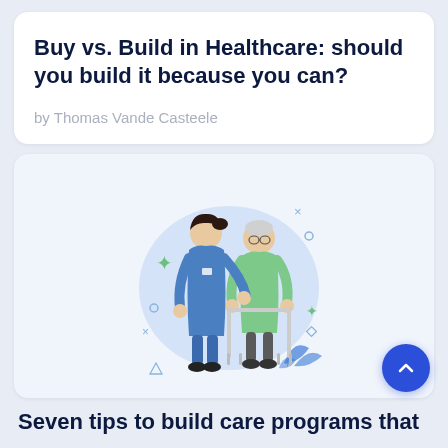Buy vs. Build in Healthcare: should you build it because you can?
by Thomas Vande Casteele
[Figure (illustration): Illustration of a nurse in blue scrubs assisting an elderly patient using a walker, with a light blue circular background and decorative plant elements.]
Seven tips to build care programs that